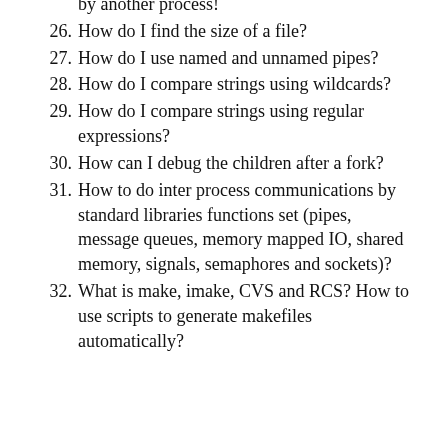by another process!
26. How do I find the size of a file?
27. How do I use named and unnamed pipes?
28. How do I compare strings using wildcards?
29. How do I compare strings using regular expressions?
30. How can I debug the children after a fork?
31. How to do inter process communications by standard libraries functions set (pipes, message queues, memory mapped IO, shared memory, signals, semaphores and sockets)?
32. What is make, imake, CVS and RCS? How to use scripts to generate makefiles automatically?